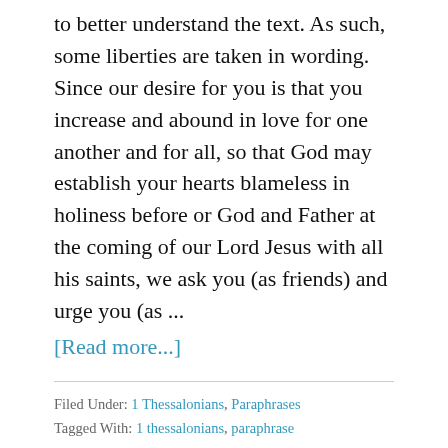to better understand the text. As such, some liberties are taken in wording. Since our desire for you is that you increase and abound in love for one another and for all, so that God may establish your hearts blameless in holiness before or God and Father at the coming of our Lord Jesus with all his saints, we ask you (as friends) and urge you (as ...
[Read more...]
Filed Under: 1 Thessalonians, Paraphrases
Tagged With: 1 thessalonians, paraphrase
1 Thessalonians 3 – Paraphrase